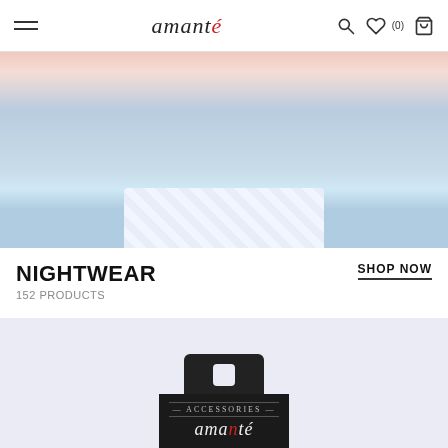amanté — navigation header with hamburger menu, search, wishlist (0), and cart icons
[Figure (photo): Woman wearing a light blue sleeveless top and white floral (yellow) shorts/pajama bottoms, cropped to show torso, against a pink background]
NIGHTWEAR
152 PRODUCTS
SHOP NOW
[Figure (photo): Amanté accessories gift package in black, with hanger hole, showing 'ACCESSORIES — amanté' branding on a dark card/box, on a light lavender background]